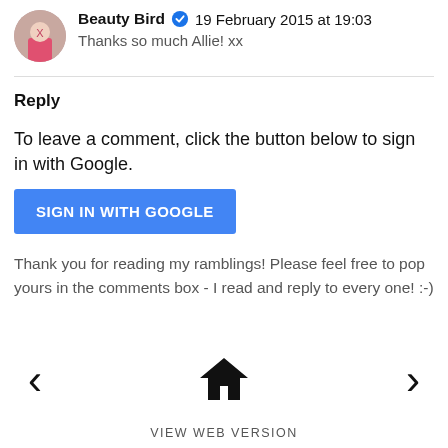Beauty Bird ✓  19 February 2015 at 19:03
Thanks so much Allie! xx
Reply
To leave a comment, click the button below to sign in with Google.
SIGN IN WITH GOOGLE
Thank you for reading my ramblings! Please feel free to pop yours in the comments box - I read and reply to every one! :-)
[Figure (other): Navigation bar with left arrow, home icon, and right arrow]
VIEW WEB VERSION